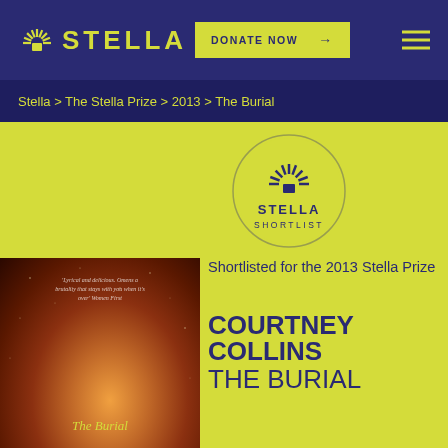STELLA — DONATE NOW →
Stella > The Stella Prize > 2013 > The Burial
[Figure (logo): Stella Shortlist circular badge with sunburst logo and text STELLA SHORTLIST]
Shortlisted for the 2013 Stella Prize
[Figure (illustration): Book cover of The Burial showing a dark orange/brown nebula-like background with the title 'The Burial' in italic yellow text and a quote at the top]
COURTNEY COLLINS THE BURIAL